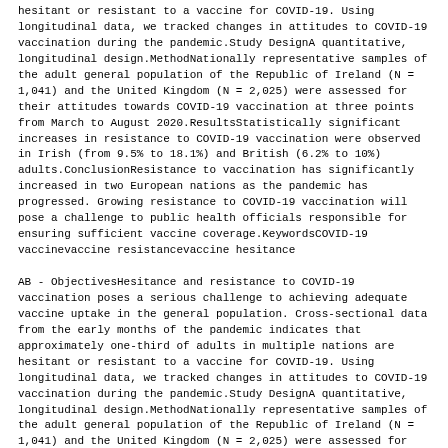hesitant or resistant to a vaccine for COVID-19. Using longitudinal data, we tracked changes in attitudes to COVID-19 vaccination during the pandemic.Study DesignA quantitative, longitudinal design.MethodNationally representative samples of the adult general population of the Republic of Ireland (N = 1,041) and the United Kingdom (N = 2,025) were assessed for their attitudes towards COVID-19 vaccination at three points from March to August 2020.ResultsStatistically significant increases in resistance to COVID-19 vaccination were observed in Irish (from 9.5% to 18.1%) and British (6.2% to 10%) adults.ConclusionResistance to vaccination has significantly increased in two European nations as the pandemic has progressed. Growing resistance to COVID-19 vaccination will pose a challenge to public health officials responsible for ensuring sufficient vaccine coverage.KeywordsCOVID-19 vaccinevaccine resistancevaccine hesitance
AB - ObjectivesHesitance and resistance to COVID-19 vaccination poses a serious challenge to achieving adequate vaccine uptake in the general population. Cross-sectional data from the early months of the pandemic indicates that approximately one-third of adults in multiple nations are hesitant or resistant to a vaccine for COVID-19. Using longitudinal data, we tracked changes in attitudes to COVID-19 vaccination during the pandemic.Study DesignA quantitative, longitudinal design.MethodNationally representative samples of the adult general population of the Republic of Ireland (N = 1,041) and the United Kingdom (N = 2,025) were assessed for their attitudes towards COVID-19 vaccination at three points from March to August 2020.ResultsStatistically significant increases in resistance to COVID-19 vaccination were observed in Irish (from 9.5% to 18.1%) and British (6.2% to 10%) adults.ConclusionResistance to vaccination has significantly increased in two European nations as the pandemic has progressed. Growing resistance to COVID-19 vaccination will pose a challenge to public health officials responsible for ensuring sufficient vaccine coverage.KeywordsCOVID-19 vaccinevaccine resistancevaccine hesitance